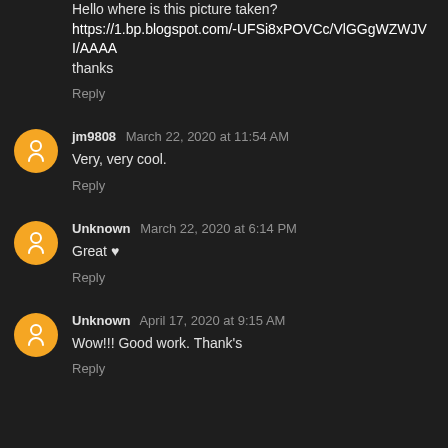Hello where is this picture taken?
https://1.bp.blogspot.com/-UFSi8xPOVCc/VlGGgWZWJVI/AAAA
thanks
Reply
jm9808  March 22, 2020 at 11:54 AM
Very, very cool.
Reply
Unknown  March 22, 2020 at 6:14 PM
Great ♥
Reply
Unknown  April 17, 2020 at 9:15 AM
Wow!!! Good work. Thank's
Reply